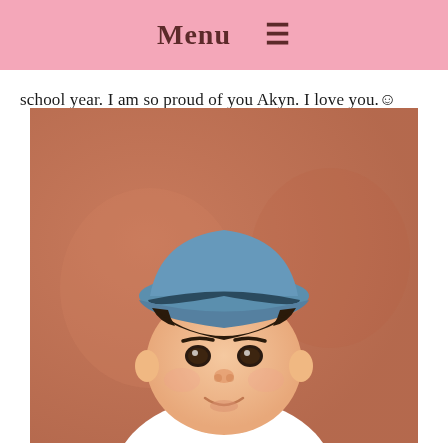Menu ☰
school year. I am so proud of you Akyn. I love you.☺
[Figure (photo): Young Asian child wearing a blue fedora/bucket hat, looking slightly to the side with a slight smile, against a warm brown/orange background, wearing a white shirt.]